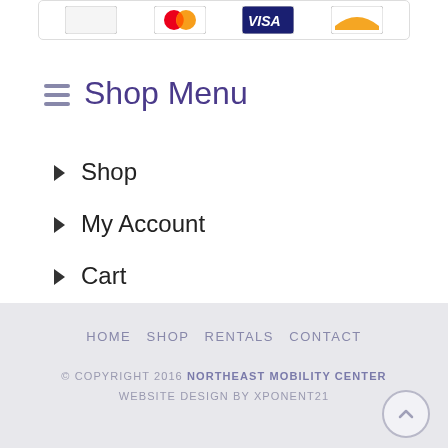[Figure (other): Payment card logos strip: Mastercard, Visa, and one other card]
Shop Menu
Shop
My Account
Cart
Shipping
Checkout
HOME   SHOP   RENTALS   CONTACT
© COPYRIGHT 2016 NORTHEAST MOBILITY CENTER WEBSITE DESIGN BY XPONENT21